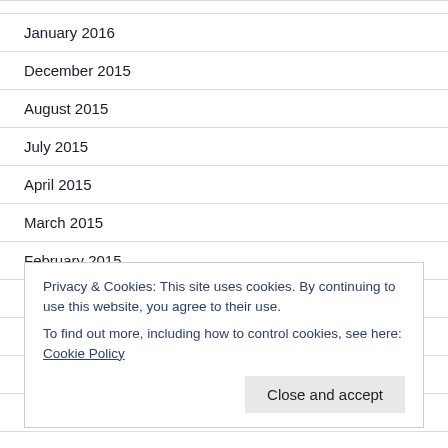January 2016
December 2015
August 2015
July 2015
April 2015
March 2015
February 2015
January 2015
December 2014
November 2014
October 2014
Privacy & Cookies: This site uses cookies. By continuing to use this website, you agree to their use.
To find out more, including how to control cookies, see here: Cookie Policy
Close and accept